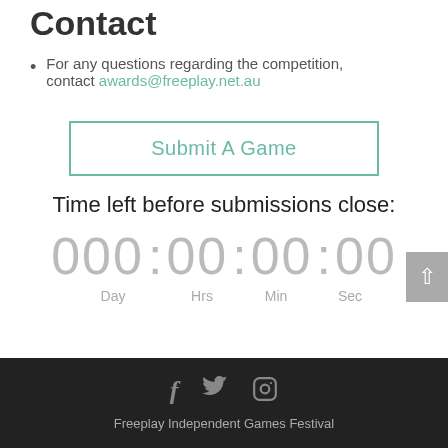Contact
For any questions regarding the competition, contact awards@freeplay.net.au
Submit A Game
Time left before submissions close:
000: 00 : 00 : 00 Day Hrs Min Sec
Freeplay Independent Games Festival